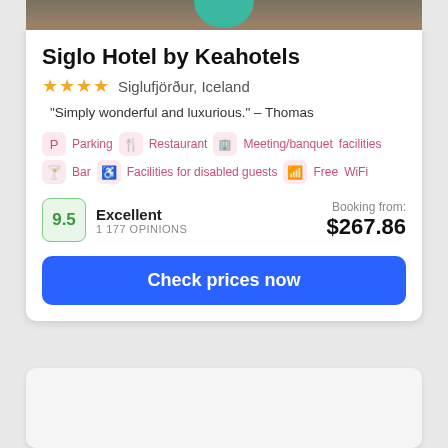[Figure (photo): Top portion of hotel card showing a dark brown/wood textured background with a teal decorative shape at the top center]
Siglo Hotel by Keahotels
★★★★  Siglufjörður, Iceland
"Simply wonderful and luxurious." - Thomas
Parking
Restaurant
Meeting/banquet facilities
Bar
Facilities for disabled guests
Free WiFi
9.5  Excellent  1 177 OPINIONS
Booking from: $267.86
Check prices now
[Figure (photo): Bottom card area showing light gray empty space, partially visible]